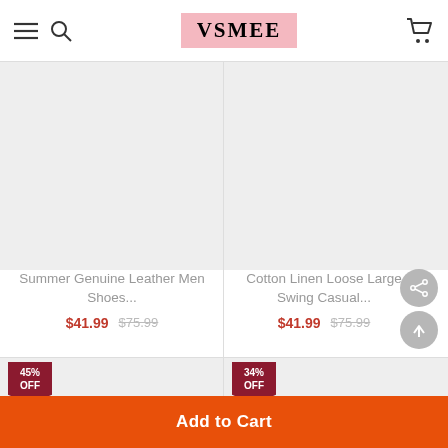VSMEE
[Figure (photo): Product image placeholder for Summer Genuine Leather Men Shoes - light grey background]
Summer Genuine Leather Men Shoes...
$41.99  $75.99
[Figure (photo): Product image placeholder for Cotton Linen Loose Large Swing Casual - light grey background]
Cotton Linen Loose Large Swing Casual...
$41.99  $75.99
[Figure (photo): Product image placeholder bottom left - 45% OFF badge]
[Figure (photo): Product image placeholder bottom right - 34% OFF badge]
Add to Cart